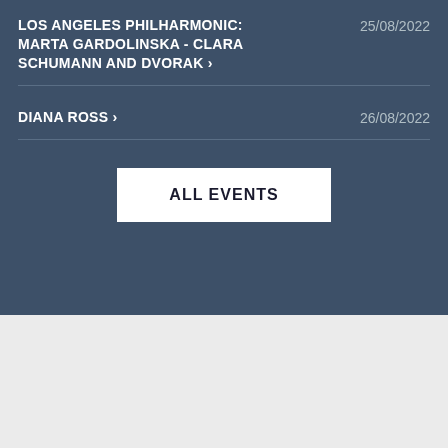LOS ANGELES PHILHARMONIC: MARTA GARDOLINSKA - CLARA SCHUMANN AND DVORAK › 25/08/2022
DIANA ROSS › 26/08/2022
ALL EVENTS
Independent guide linking to ticket resale marketplace.